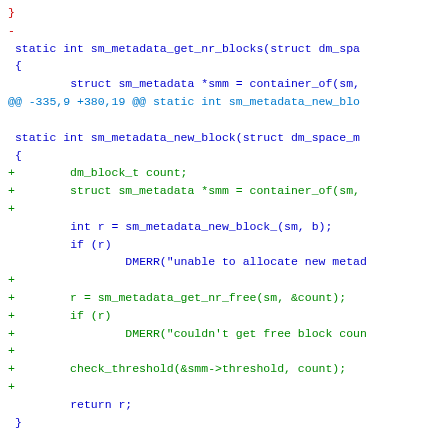[Figure (screenshot): Code diff showing changes to sm_metadata functions in a Linux kernel patch. Lines shown include sm_metadata_get_nr_blocks, sm_metadata_new_block, and sm_metadata_register_threshold_callback functions with added lines marked in green and context lines in black/blue.]